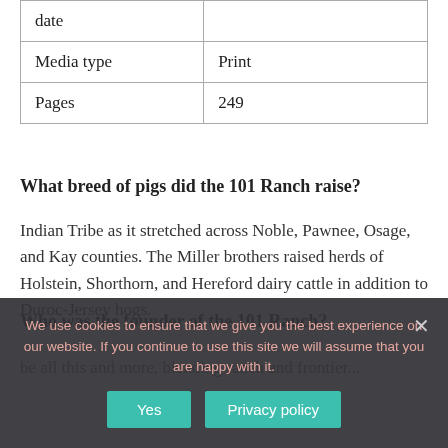| date |  |
| Media type | Print |
| Pages | 249 |
What breed of pigs did the 101 Ranch raise?
Indian Tribe as it stretched across Noble, Pawnee, Osage, and Kay counties. The Miller brothers raised herds of Holstein, Shorthorn, and Hereford dairy cattle in addition to Duroc-Jersey hogs.
Who was the founder of the 101 Ranch?
We use cookies to ensure that we give you the best experience on our website. If you continue to use this site we will assume that you are happy with it.